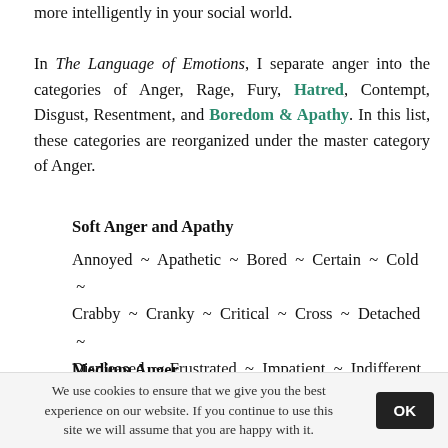more intelligently in your social world. In The Language of Emotions, I separate anger into the categories of Anger, Rage, Fury, Hatred, Contempt, Disgust, Resentment, and Boredom & Apathy. In this list, these categories are reorganized under the master category of Anger.
Soft Anger and Apathy
Annoyed ~ Apathetic ~ Bored ~ Certain ~ Cold ~ Crabby ~ Cranky ~ Critical ~ Cross ~ Detached ~ Displeased ~ Frustrated ~ Impatient ~ Indifferent ~ Irritated ~ Peeved ~ Rankled
Medium Anger
Affronted ~ Aggravated ~ Angry ~ Antagonized ~
We use cookies to ensure that we give you the best experience on our website. If you continue to use this site we will assume that you are happy with it.